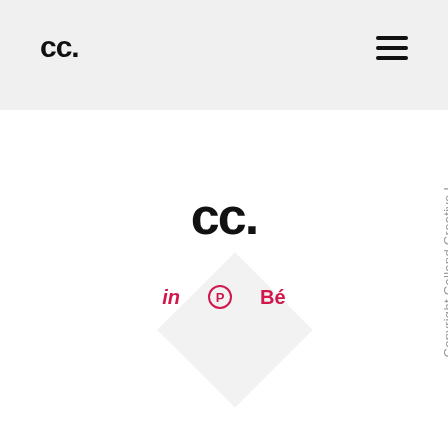[Figure (logo): cc. logo with diamond shape in header navigation bar, with hamburger menu icon on the right]
[Figure (logo): cc. logo centered on page with decorative diamond shape behind it, and social media icons (LinkedIn, Pinterest, Behance) below in pink/red color]
Unit N, 49 Jamaica Street, Liverp
Copyright Calland Creative L